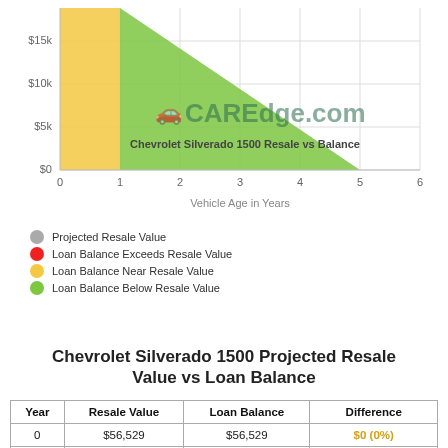[Figure (area-chart): Area chart showing Chevrolet Silverado 1500 Resale vs Balance with green area (Loan Balance Below Resale Value) and yellow area (Loan Balance Near Resale Value). X-axis: Vehicle Age in Years (0-6), Y-axis: $0 to $15k. CAREdge.com watermark visible.]
Projected Resale Value
Loan Balance Exceeds Resale Value
Loan Balance Near Resale Value
Loan Balance Below Resale Value
Chevrolet Silverado 1500 Projected Resale Value vs Loan Balance
| Year | Resale Value | Loan Balance | Difference |
| --- | --- | --- | --- |
| 0 | $56,529 | $56,529 | $0 (0%) |
| 1 | $51,537 | $46,268 | +$5,269 (10%) |